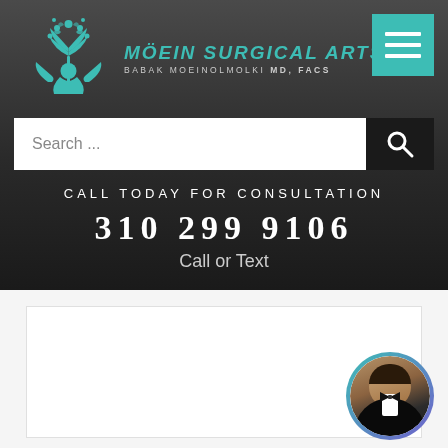[Figure (logo): Möein Surgical Arts logo with teal decorative tree and stylized figure, with clinic name and doctor credentials]
Search ...
CALL TODAY FOR CONSULTATION
310 299 9106
Call or Text
[Figure (photo): Circular photo of Dr. Babak Moeinolmolki in formal attire with bow tie, with teal-to-purple gradient border]